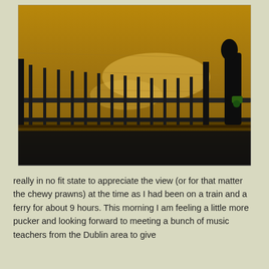[Figure (photo): A photograph of a metal railing/fence on a pier or bridge walkway, with golden sunlit water visible in the background. Dark silhouette of a figure visible on the right side. The scene has a warm golden-brown tone.]
really in no fit state to appreciate the view (or for that matter the chewy prawns) at the time as I had been on a train and a ferry for about 9 hours. This morning I am feeling a little more pucker and looking forward to meeting a bunch of music teachers from the Dublin area to give